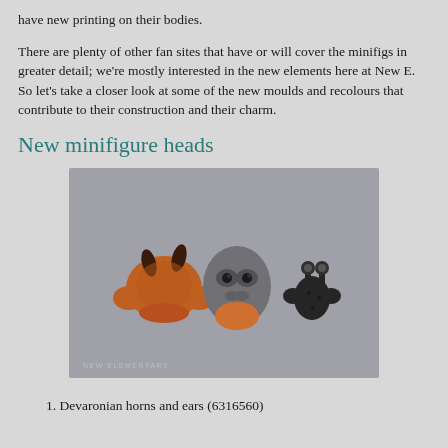have new printing on their bodies.
There are plenty of other fan sites that have or will cover the minifigs in greater detail; we're mostly interested in the new elements here at New E. So let's take a closer look at some of the new moulds and recolours that contribute to their construction and their charm.
New minifigure heads
[Figure (photo): Three LEGO minifigure heads: a Devaronian head with orange/brown coloring and dark horns, a grey alien-like head with large eyes and orange lower jaw, and a small black head with protruding eyes. Watermark reads NEW ELEMENTARY.]
1. Devaronian horns and ears (6316560)